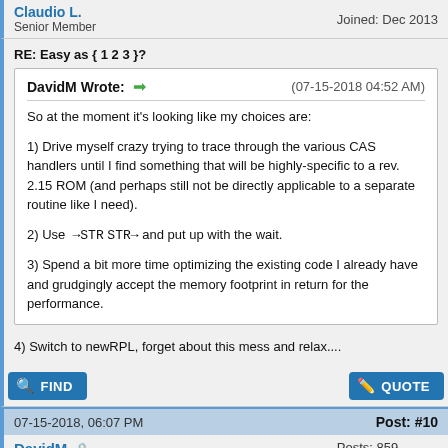Senior Member   Joined: Dec 2013
RE: Easy as { 1 2 3 }?
DavidM Wrote: → (07-15-2018 04:52 AM)
So at the moment it's looking like my choices are:

1) Drive myself crazy trying to trace through the various CAS handlers until I find something that will be highly-specific to a rev. 2.15 ROM (and perhaps still not be directly applicable to a separate routine like I need).

2) Use →STR STR→ and put up with the wait.

3) Spend a bit more time optimizing the existing code I already have and grudgingly accept the memory footprint in return for the performance.
4) Switch to newRPL, forget about this mess and relax....
FIND   QUOTE
07-15-2018, 06:07 PM   Post: #10
DavidM   Posts: 859
Joined: Dec 2013